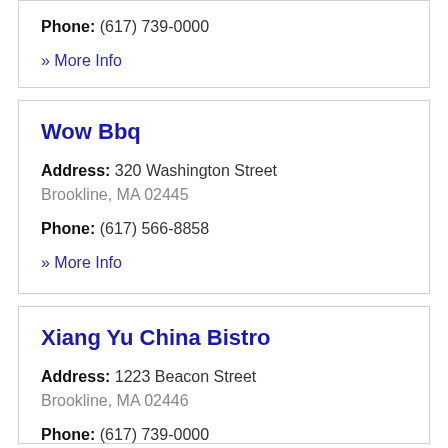Phone: (617) 739-0000
» More Info
Wow Bbq
Address: 320 Washington Street Brookline, MA 02445
Phone: (617) 566-8858
» More Info
Xiang Yu China Bistro
Address: 1223 Beacon Street Brookline, MA 02446
Phone: (617) 739-0000
» More Info